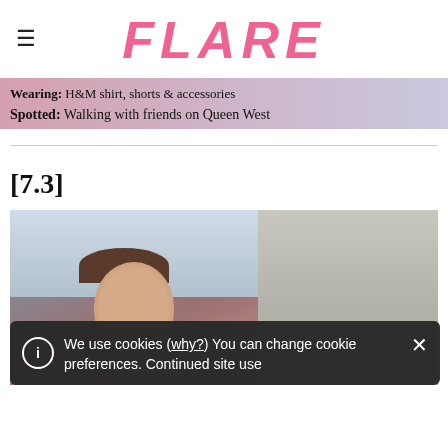FLARE
Wearing: H&M shirt, shorts & accessories
Spotted: Walking with friends on Queen West
[7.3]
[Figure (photo): Woman with brown hair photographed in front of a city building backdrop]
We use cookies (why?) You can change cookie preferences. Continued site use